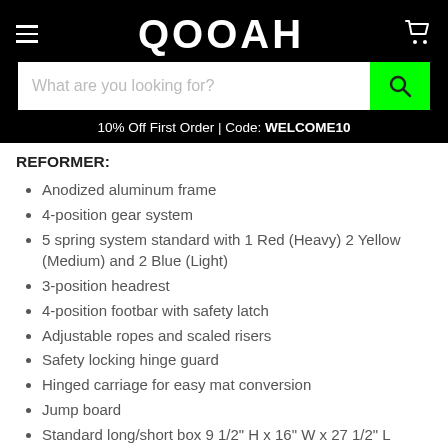QOOAH
What are you looking for?
10% Off First Order | Code: WELCOME10
REFORMER:
Anodized aluminum frame
4-position gear system
5 spring system standard with 1 Red (Heavy) 2 Yellow (Medium) and 2 Blue (Light)
3-position headrest
4-position footbar with safety latch
Adjustable ropes and scaled risers
Safety locking hinge guard
Hinged carriage for easy mat conversion
Jump board
Standard long/short box 9 1/2" H x 16" W x 27 1/2" L (24cm x